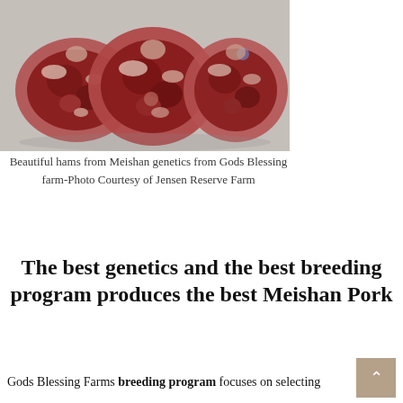[Figure (photo): Three raw ham cuts (Meishan pork) laid on a surface, showing deep red meat with fat marbling, photographed from above.]
Beautiful hams from Meishan genetics from Gods Blessing farm-Photo Courtesy of Jensen Reserve Farm
The best genetics and the best breeding program produces the best Meishan Pork
Gods Blessing Farms breeding program focuses on selecting